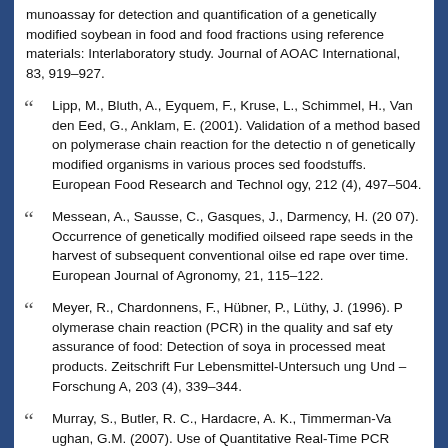munoassay for detection and quantification of a genetically modified soybean in food and food fractions using reference materials: Interlaboratory study. Journal of AOAC International, 83, 919–927.
Lipp, M., Bluth, A., Eyquem, F., Kruse, L., Schimmel, H., Van den Eed, G., Anklam, E. (2001). Validation of a method based on polymerase chain reaction for the detection of genetically modified organisms in various processed foodstuffs. European Food Research and Technology, 212 (4), 497–504.
Messean, A., Sausse, C., Gasques, J., Darmency, H. (2007). Occurrence of genetically modified oilseed rape seeds in the harvest of subsequent conventional oilseed rape over time. European Journal of Agronomy, 21, 115–122.
Meyer, R., Chardonnens, F., Hübner, P., Lüthy, J. (1996). Polymerase chain reaction (PCR) in the quality and safety assurance of food: Detection of soya in processed meat products. Zeitschrift Fur Lebensmittel-Untersuchung Und –Forschung A, 203 (4), 339–344.
Murray, S., Butler, R. C., Hardacre, A. K., Timmerman-Vaughan, G.M. (2007). Use of Quantitative Real-Time PCR